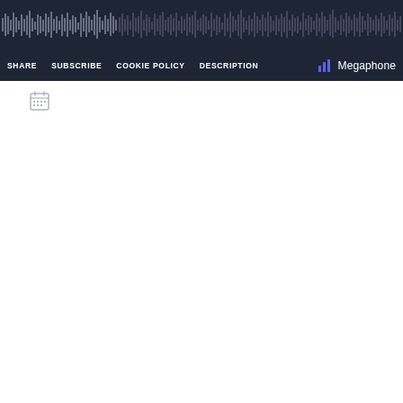[Figure (screenshot): Dark navigation bar of a podcast player (Megaphone) showing waveform audio visualization at top, with nav links: SHARE, SUBSCRIBE, COOKIE POLICY, DESCRIPTION, and the Megaphone logo with bar chart icon on the right.]
[Figure (illustration): Small calendar icon in light gray, positioned below the dark navigation bar on the white content area.]